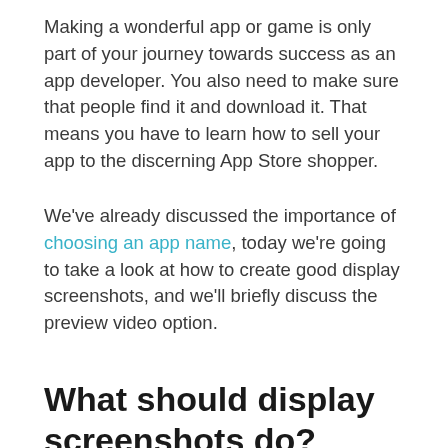Making a wonderful app or game is only part of your journey towards success as an app developer. You also need to make sure that people find it and download it. That means you have to learn how to sell your app to the discerning App Store shopper.
We've already discussed the importance of choosing an app name, today we're going to take a look at how to create good display screenshots, and we'll briefly discuss the preview video option.
What should display screenshots do?
When a potential customer is sifting through the search results and they take a look at your app the first thing they are going to see is your